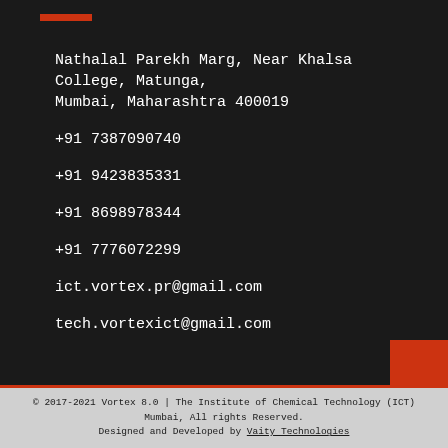Nathalal Parekh Marg, Near Khalsa College, Matunga, Mumbai, Maharashtra 400019
+91 7387090740
+91 9423835331
+91 8698978344
+91 7776072299
ict.vortex.pr@gmail.com
tech.vortexict@gmail.com
© 2017-2021 Vortex 8.0 | The Institute of Chemical Technology (ICT) Mumbai, All rights Reserved. Designed and Developed by Vaity Technologies